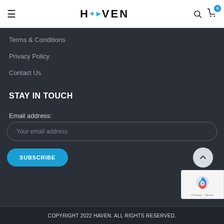HAVEN
Terms & Conditions
Privacy Policy
Contact Us
STAY IN TOUCH
Email address:
Your email address
SUBSCRIBE
COPYRIGHT 2022 HAVEN. ALL RIGHTS RESERVED.